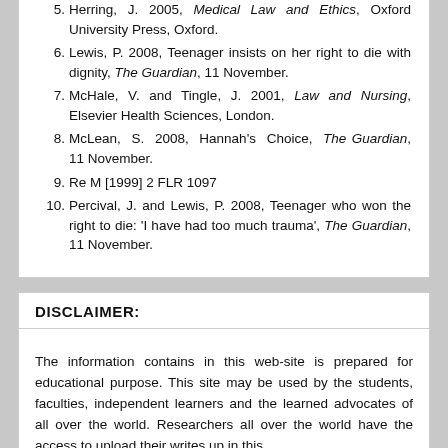5. Herring, J. 2005, Medical Law and Ethics, Oxford University Press, Oxford.
6. Lewis, P. 2008, Teenager insists on her right to die with dignity, The Guardian, 11 November.
7. McHale, V. and Tingle, J. 2001, Law and Nursing, Elsevier Health Sciences, London.
8. McLean, S. 2008, Hannah's Choice, The Guardian, 11 November.
9. Re M [1999] 2 FLR 1097
10. Percival, J. and Lewis, P. 2008, Teenager who won the right to die: 'I have had too much trauma', The Guardian, 11 November.
DISCLAIMER:
The information contains in this web-site is prepared for educational purpose. This site may be used by the students, faculties, independent learners and the learned advocates of all over the world. Researchers all over the world have the access to upload their writes up in this